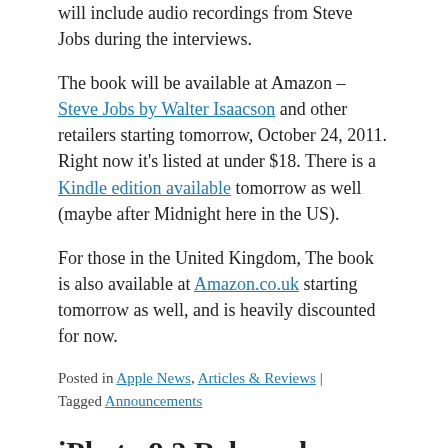will include audio recordings from Steve Jobs during the interviews.
The book will be available at Amazon – Steve Jobs by Walter Isaacson and other retailers starting tomorrow, October 24, 2011. Right now it's listed at under $18. There is a Kindle edition available tomorrow as well (maybe after Midnight here in the US).
For those in the United Kingdom, The book is also available at Amazon.co.uk starting tomorrow as well, and is heavily discounted for now.
Posted in Apple News, Articles & Reviews | Tagged Announcements
iPhoto 9.2 Released
Posted by October 14, 2011 by Stephen...